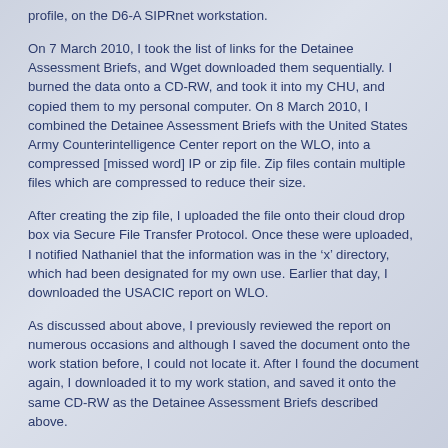profile, on the D6-A SIPRnet workstation.
On 7 March 2010, I took the list of links for the Detainee Assessment Briefs, and Wget downloaded them sequentially. I burned the data onto a CD-RW, and took it into my CHU, and copied them to my personal computer. On 8 March 2010, I combined the Detainee Assessment Briefs with the United States Army Counterintelligence Center report on the WLO, into a compressed [missed word] IP or zip file. Zip files contain multiple files which are compressed to reduce their size.
After creating the zip file, I uploaded the file onto their cloud drop box via Secure File Transfer Protocol. Once these were uploaded, I notified Nathaniel that the information was in the ‘x’ directory, which had been designated for my own use. Earlier that day, I downloaded the USACIC report on WLO.
As discussed about above, I previously reviewed the report on numerous occasions and although I saved the document onto the work station before, I could not locate it. After I found the document again, I downloaded it to my work station, and saved it onto the same CD-RW as the Detainee Assessment Briefs described above.